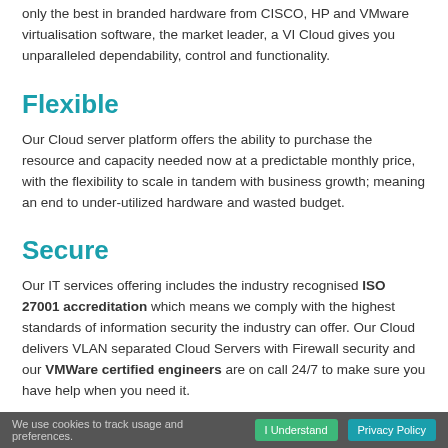only the best in branded hardware from CISCO, HP and VMware virtualisation software, the market leader, a VI Cloud gives you unparalleled dependability, control and functionality.
Flexible
Our Cloud server platform offers the ability to purchase the resource and capacity needed now at a predictable monthly price, with the flexibility to scale in tandem with business growth; meaning an end to under-utilized hardware and wasted budget.
Secure
Our IT services offering includes the industry recognised ISO 27001 accreditation which means we comply with the highest standards of information security the industry can offer. Our Cloud delivers VLAN separated Cloud Servers with Firewall security and our VMWare certified engineers are on call 24/7 to make sure you have help when you need it.
We use cookies to track usage and preferences.  I Understand  Privacy Policy